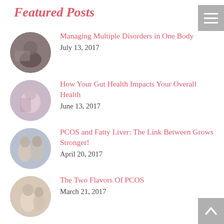Featured Posts
Managing Multiple Disorders in One Body
July 13, 2017
How Your Gut Health Impacts Your Overall Health
June 13, 2017
PCOS and Fatty Liver: The Link Between Grows Stronger!
April 20, 2017
The Two Flavors Of PCOS
March 21, 2017
How Much Exercise is Needed to Maintain Weight Loss?
February 16, 2017